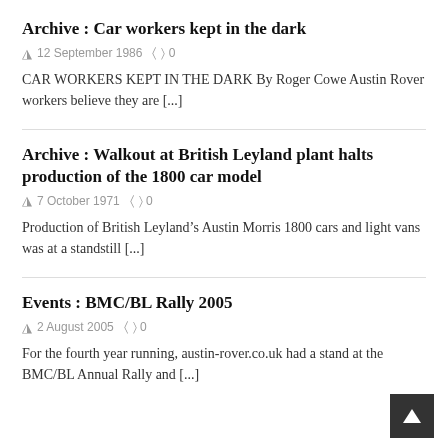Archive : Car workers kept in the dark
12 September 1986  0
CAR WORKERS KEPT IN THE DARK By Roger Cowe Austin Rover workers believe they are [...]
Archive : Walkout at British Leyland plant halts production of the 1800 car model
7 October 1971  0
Production of British Leyland's Austin Morris 1800 cars and light vans was at a standstill [...]
Events : BMC/BL Rally 2005
2 August 2005  0
For the fourth year running, austin-rover.co.uk had a stand at the BMC/BL Annual Rally and [...]